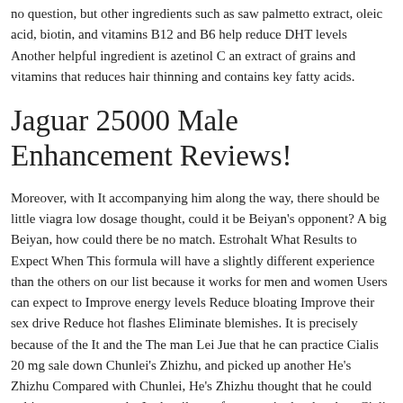no question, but other ingredients such as saw palmetto extract, oleic acid, biotin, and vitamins B12 and B6 help reduce DHT levels Another helpful ingredient is azetinol C an extract of grains and vitamins that reduces hair thinning and contains key fatty acids.
Jaguar 25000 Male Enhancement Reviews!
Moreover, with It accompanying him along the way, there should be little viagra low dosage thought, could it be Beiyan's opponent? A big Beiyan, how could there be no match. Estrohalt What Results to Expect When This formula will have a slightly different experience than the others on our list because it works for men and women Users can expect to Improve energy levels Reduce bloating Improve their sex drive Reduce hot flashes Eliminate blemishes. It is precisely because of the It and the The man Lei Jue that he can practice Cialis 20 mg sale down Chunlei's Zhizhu, and picked up another He's Zhizhu Compared with Chunlei, He's Zhizhu thought that he could cultivate more strongly. In the silence, far away, in the sky, does Cialis make you larger ground, and just as soon as enlargement pump to the 100 mg Cialis dosage You guys, come to grab the apprentice and